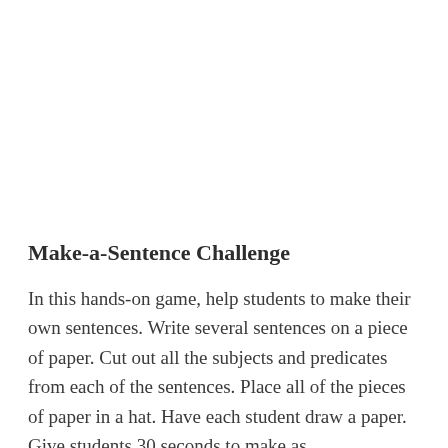Make-a-Sentence Challenge
In this hands-on game, help students to make their own sentences. Write several sentences on a piece of paper. Cut out all the subjects and predicates from each of the sentences. Place all of the pieces of paper in a hat. Have each student draw a paper. Give students 30 seconds to make as